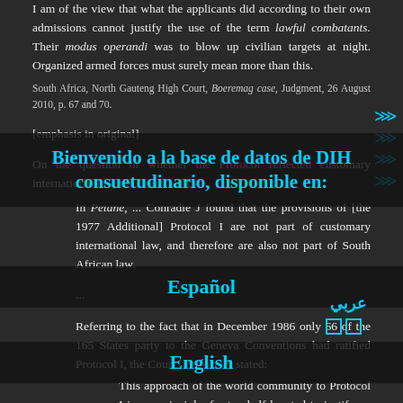I am of the view that what the applicants did according to their own admissions cannot justify the use of the term lawful combatants. Their modus operandi was to blow up civilian targets at night. Organized armed forces must surely mean more than this.
South Africa, North Gauteng High Court, Boeremag case, Judgment, 26 August 2010, p. 67 and 70.
[emphasis in original]
On the question of whether the Protocol reflected customary international law, the Court held:
In Petane, ... Conradie J found that the provisions of [the 1977 Additional] Protocol I are not part of customary international law, and therefore are also not part of South African law.
...
Referring to the fact that in December 1986 only 66 of the 165 States party to the Geneva Conventions had ratified Protocol I, the Court [in Petane] stated:
This approach of the world community to Protocol I is, on principle, far too half-hearted to justify an inference that its principles have been so widely accepted as to qualify them as rules of customary international law. The
[Figure (infographic): Welcome overlay banner in Spanish: 'Bienvenido a la base de datos de DIH consuetudinario, disponible en:' with navigation chevrons and language options including Español, عربي, and English]